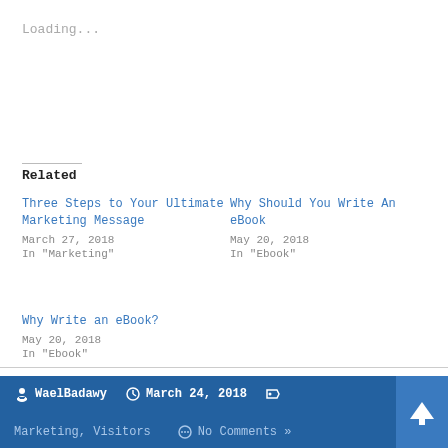Loading...
Related
Three Steps to Your Ultimate Marketing Message
March 27, 2018
In "Marketing"
Why Should You Write An eBook
May 20, 2018
In "Ebook"
Why Write an eBook?
May 20, 2018
In "Ebook"
WaelBadawy  March 24, 2018  Marketing, Visitors  No Comments »